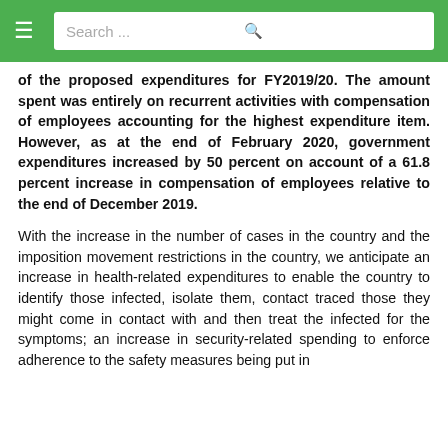Search ...
of the proposed expenditures for FY2019/20. The amount spent was entirely on recurrent activities with compensation of employees accounting for the highest expenditure item. However, as at the end of February 2020, government expenditures increased by 50 percent on account of a 61.8 percent increase in compensation of employees relative to the end of December 2019.
With the increase in the number of cases in the country and the imposition movement restrictions in the country, we anticipate an increase in health-related expenditures to enable the country to identify those infected, isolate them, contact traced those they might come in contact with and then treat the infected for the symptoms; an increase in security-related spending to enforce adherence to the safety measures being put in